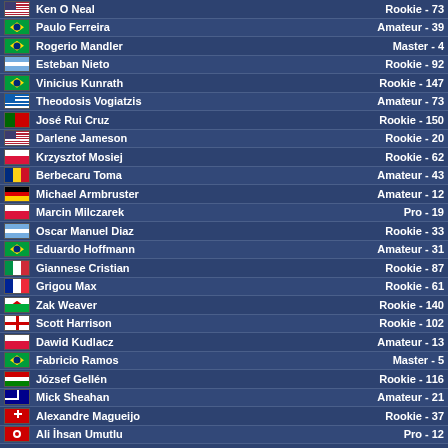| Flag | Name | Rank |
| --- | --- | --- |
| US | Ken O Neal | Rookie - 73 |
| BR | Paulo Ferreira | Amateur - 39 |
| BR | Rogerio Mandler | Master - 4 |
| AR | Esteban Nieto | Rookie - 92 |
| BR | Vinicius Kunrath | Rookie - 147 |
| GR | Theodosis Vogiatzis | Amateur - 73 |
| PT | José Rui Cruz | Rookie - 150 |
| US | Darlene Jameson | Rookie - 20 |
| PL | Krzysztof Mosiej | Rookie - 62 |
| RO | Berbecaru Toma | Amateur - 43 |
| DE | Michael Armbruster | Amateur - 12 |
| PL | Marcin Milczarek | Pro - 19 |
| AR | Oscar Manuel Diaz | Rookie - 33 |
| BR | Eduardo Hoffmann | Amateur - 31 |
| IT | Giannese Cristian | Rookie - 87 |
| FR | Grigou Max | Rookie - 61 |
| WALES | Zak Weaver | Rookie - 140 |
| ENG | Scott Harrison | Rookie - 102 |
| PL | Dawid Kudlacz | Amateur - 13 |
| BR | Fabricio Ramos | Master - 5 |
| HU | József Gellén | Rookie - 116 |
| AU | Mick Sheahan | Amateur - 21 |
| CH | Alexandre Magueijo | Rookie - 37 |
| TR | Ali İhsan Umutlu | Pro - 12 |